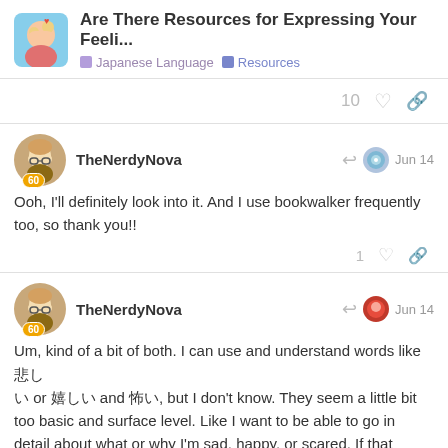Are There Resources for Expressing Your Feeli... | Japanese Language | Resources
10
TheNerdyNova Jun 14
Ooh, I'll definitely look into it. And I use bookwalker frequently too, so thank you!!
1
TheNerdyNova Jun 14
Um, kind of a bit of both. I can use and understand words like 悲しい or 嬉しい and 怖い, but I don't know. They seem a little bit too basic and surface level. Like I want to be able to go in detail about what or why I'm sad, happy, or scared. If that makes sense :))